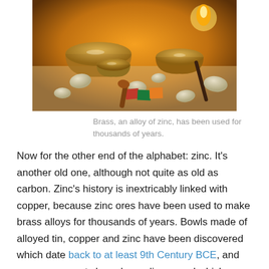[Figure (photo): Brass singing bowls and objects arranged on a table, with warm orange lighting, stones, small flags, and a mallet visible.]
Brass, an alloy of zinc, has been used for thousands of years.
Now for the other end of the alphabet: zinc. It’s another old one, although not quite as old as carbon. Zinc’s history is inextricably linked with copper, because zinc ores have been used to make brass alloys for thousands of years. Bowls made of alloyed tin, copper and zinc have been discovered which date back to at least 9th Century BCE, and many ornaments have been discovered which are around 2,500 years old.